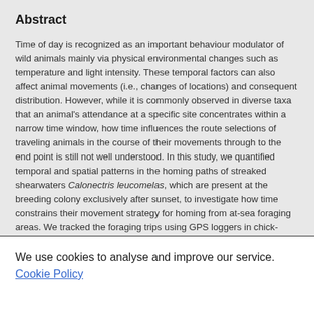Abstract
Time of day is recognized as an important behaviour modulator of wild animals mainly via physical environmental changes such as temperature and light intensity. These temporal factors can also affect animal movements (i.e., changes of locations) and consequent distribution. However, while it is commonly observed in diverse taxa that an animal's attendance at a specific site concentrates within a narrow time window, how time influences the route selections of traveling animals in the course of their movements through to the end point is still not well understood. In this study, we quantified temporal and spatial patterns in the homing paths of streaked shearwaters Calonectris leucomelas, which are present at the breeding colony exclusively after sunset, to investigate how time constrains their movement strategy for homing from at-sea foraging areas. We tracked the foraging trips using GPS loggers in chick-rearing seasons for five years. In addition, in one year we conducted
We use cookies to analyse and improve our service.  Cookie Policy